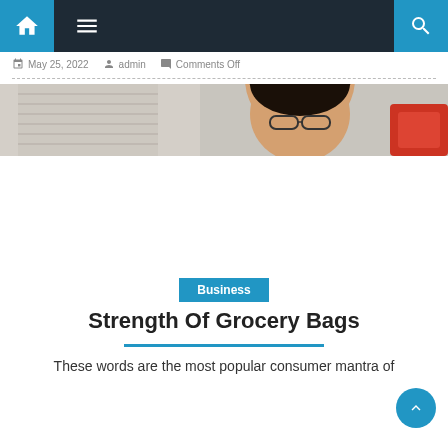Navigation bar with home, menu, and search icons
May 25, 2022  admin  Comments Off
[Figure (photo): Cropped photo of a person wearing glasses looking down, with a red object visible on the right side, against a light background]
Business
Strength Of Grocery Bags
These words are the most popular consumer mantra of